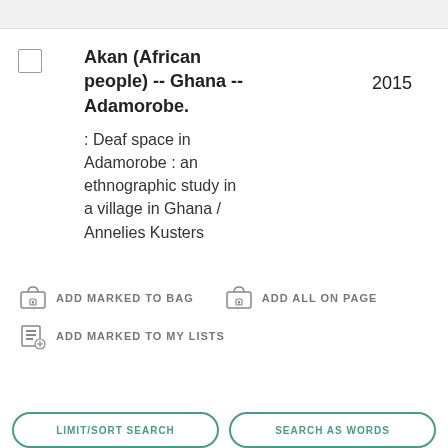Akan (African people) -- Ghana -- Adamorobe.
: Deaf space in Adamorobe : an ethnographic study in a village in Ghana / Annelies Kusters
2015
ADD MARKED TO BAG
ADD ALL ON PAGE
ADD MARKED TO MY LISTS
LIMIT/SORT SEARCH
SEARCH AS WORDS